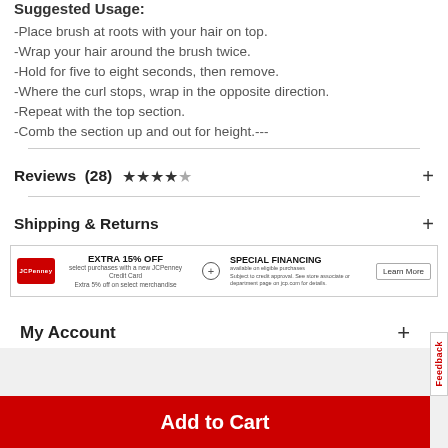Suggested Usage:
-Place brush at roots with your hair on top.
-Wrap your hair around the brush twice.
-Hold for five to eight seconds, then remove.
-Where the curl stops, wrap in the opposite direction.
-Repeat with the top section.
-Comb the section up and out for height.---
Reviews  (28)
Shipping & Returns
[Figure (infographic): JCPenney credit card banner: EXTRA 15% OFF select purchases with a new JCPenney Credit Card. Extra 5% off on select merchandise. SPECIAL FINANCING available on eligible purchases. Subject to credit approval. See store associate or department page on jcp.com for details. Learn More button.]
My Account
Add to Cart
Feedback